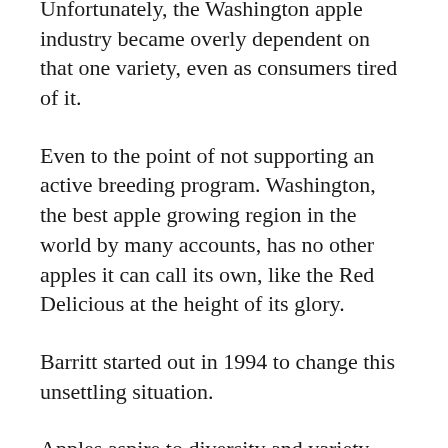Unfortunately, the Washington apple industry became overly dependent on that one variety, even as consumers tired of it.
Even to the point of not supporting an active breeding program. Washington, the best apple growing region in the world by many accounts, has no other apples it can call its own, like the Red Delicious at the height of its glory.
Barritt started out in 1994 to change this unsettling situation.
Apples aspire to diversity and variety. Genetically, they are heterozygous, which basically means they are amazingly diverse. Plant the 10 seeds from any given apple, and you will likely get 10 very different trees.